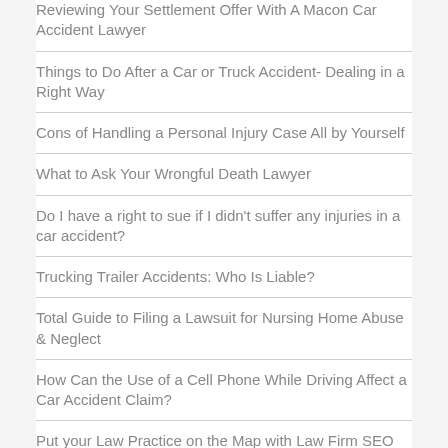Reviewing Your Settlement Offer With A Macon Car Accident Lawyer
Things to Do After a Car or Truck Accident- Dealing in a Right Way
Cons of Handling a Personal Injury Case All by Yourself
What to Ask Your Wrongful Death Lawyer
Do I have a right to sue if I didn't suffer any injuries in a car accident?
Trucking Trailer Accidents: Who Is Liable?
Total Guide to Filing a Lawsuit for Nursing Home Abuse & Neglect
How Can the Use of a Cell Phone While Driving Affect a Car Accident Claim?
Put your Law Practice on the Map with Law Firm SEO